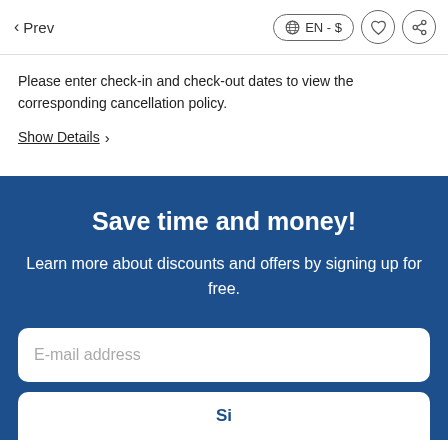< Prev  EN - $
Please enter check-in and check-out dates to view the corresponding cancellation policy.
Show Details >
Save time and money!
Learn more about discounts and offers by signing up for free.
E-mail address
Si